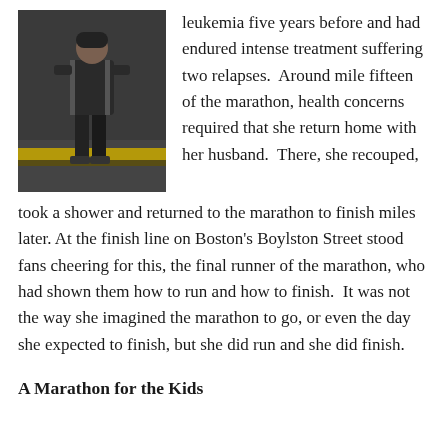[Figure (photo): A person standing on a marathon course, wearing dark athletic clothing, with yellow and black marathon signage visible on the ground.]
leukemia five years before and had endured intense treatment suffering two relapses.  Around mile fifteen of the marathon, health concerns required that she return home with her husband.  There, she recouped, took a shower and returned to the marathon to finish miles later. At the finish line on Boston's Boylston Street stood fans cheering for this, the final runner of the marathon, who had shown them how to run and how to finish.  It was not the way she imagined the marathon to go, or even the day she expected to finish, but she did run and she did finish.
A Marathon for the Kids